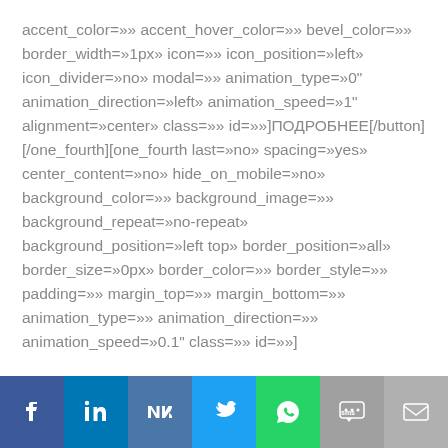accent_color=»» accent_hover_color=»» bevel_color=»» border_width=»1px» icon=»» icon_position=»left» icon_divider=»no» modal=»» animation_type=»0" animation_direction=»left» animation_speed=»1" alignment=»center» class=»» id=»»]ПОДРОБНЕЕ[/button][/one_fourth][one_fourth last=»no» spacing=»yes» center_content=»no» hide_on_mobile=»no» background_color=»» background_image=»» background_repeat=»no-repeat» background_position=»left top» border_position=»all» border_size=»0px» border_color=»» border_style=»» padding=»» margin_top=»» margin_bottom=»» animation_type=»» animation_direction=»» animation_speed=»0.1" class=»» id=»»]
Виды дистанционного обучения: затраты и выгоды
[Figure (infographic): Social sharing bar with icons: Facebook (blue), LinkedIn (dark blue), VK (steel blue), Twitter (light blue), WhatsApp (green), SMS (gray), Email (gray)]